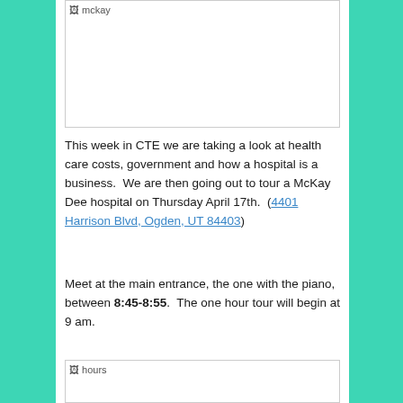[Figure (photo): Image placeholder labeled 'mckay' — a broken image icon with alt text 'mckay' inside a bordered white box]
This week in CTE we are taking a look at health care costs, government and how a hospital is a business.  We are then going out to tour a McKay Dee hospital on Thursday April 17th.  (4401 Harrison Blvd, Ogden, UT 84403)
Meet at the main entrance, the one with the piano, between 8:45-8:55.  The one hour tour will begin at 9 am.
[Figure (photo): Image placeholder labeled 'hours' — a broken image icon with alt text 'hours' inside a bordered white box]